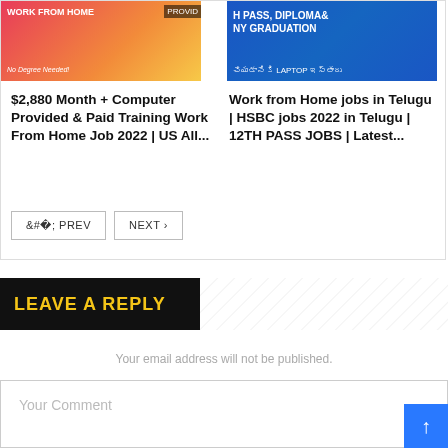[Figure (screenshot): Thumbnail image for 'Work From Home' job article with pink/yellow gradient background and text overlay]
[Figure (screenshot): Thumbnail image for Telugu HSBC jobs article with blue background and Telugu text]
$2,880 Month + Computer Provided & Paid Training Work From Home Job 2022 | US All...
Work from Home jobs in Telugu | HSBC jobs 2022 in Telugu | 12TH PASS JOBS | Latest...
< PREV
NEXT >
LEAVE A REPLY
Your email address will not be published.
Your Comment